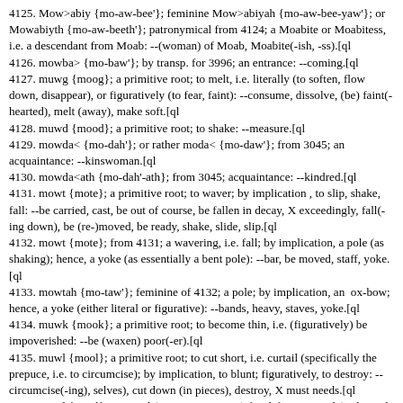4125. Mow>abiy {mo-aw-bee'}; feminine Mow>abiyah {mo-aw-bee-yaw'}; or Mowabiyth {mo-aw-beeth'}; patronymical from 4124; a Moabite or Moabitess, i.e. a descendant from Moab: --(woman) of Moab, Moabite(-ish, -ss).[ql
4126. mowba> {mo-baw'}; by transp. for 3996; an entrance: --coming.[ql
4127. muwg {moog}; a primitive root; to melt, i.e. literally (to soften, flow down, disappear), or figuratively (to fear, faint): --consume, dissolve, (be) faint(-hearted), melt (away), make soft.[ql
4128. muwd {mood}; a primitive root; to shake: --measure.[ql
4129. mowda< {mo-dah'}; or rather moda< {mo-daw'}; from 3045; an acquaintance: --kinswoman.[ql
4130. mowda<ath {mo-dah'-ath}; from 3045; acquaintance: --kindred.[ql
4131. mowt {mote}; a primitive root; to waver; by implication , to slip, shake, fall: --be carried, cast, be out of course, be fallen in decay, X exceedingly, fall(-ing down), be (re-)moved, be ready, shake, slide, slip.[ql
4132. mowt {mote}; from 4131; a wavering, i.e. fall; by implication, a pole (as shaking); hence, a yoke (as essentially a bent pole): --bar, be moved, staff, yoke.[ql
4133. mowtah {mo-taw'}; feminine of 4132; a pole; by implication, an ox-bow; hence, a yoke (either literal or figurative): --bands, heavy, staves, yoke.[ql
4134. muwk {mook}; a primitive root; to become thin, i.e. (figuratively) be impoverished: --be (waxen) poor(-er).[ql
4135. muwl {mool}; a primitive root; to cut short, i.e. curtail (specifically the prepuce, i.e. to circumcise); by implication, to blunt; figuratively, to destroy: --circumcise(-ing), selves), cut down (in pieces), destroy, X must needs.[ql
4136. muwl {mool}; or mowl (Deuteronomy 1:1) {mole}; or mow>l (Nehemiah 12:38) {mole}; or mul (Numbers 22:5) {mool}; from 4135; properly, abrupt, i.e. a precipice; by implication, the front; used only adverbially (with prepositional prefix) opposite: --(over) against, before, [fore-]front, from, [God-]ward, toward